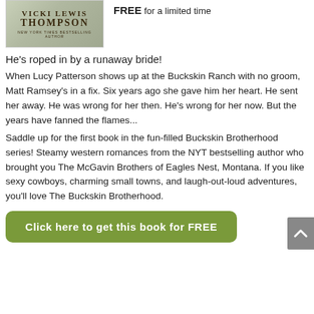[Figure (illustration): Book cover showing author name VICKI LEWIS THOMPSON, NEW YORK TIMES BESTSELLING AUTHOR]
FREE for a limited time
He's roped in by a runaway bride!
When Lucy Patterson shows up at the Buckskin Ranch with no groom, Matt Ramsey's in a fix. Six years ago she gave him her heart. He sent her away. He was wrong for her then. He's wrong for her now. But the years have fanned the flames...
Saddle up for the first book in the fun-filled Buckskin Brotherhood series! Steamy western romances from the NYT bestselling author who brought you The McGavin Brothers of Eagles Nest, Montana. If you like sexy cowboys, charming small towns, and laugh-out-loud adventures, you'll love The Buckskin Brotherhood.
Click here to get this book for FREE